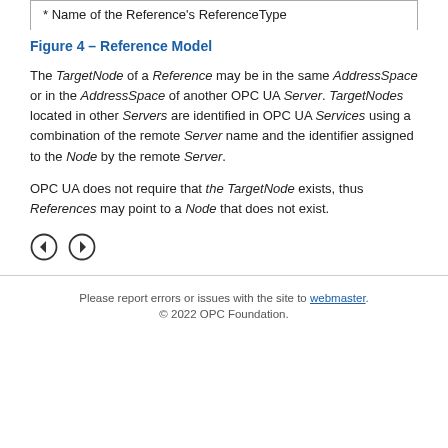| * Name of the Reference's ReferenceType |
Figure 4 – Reference Model
The TargetNode of a Reference may be in the same AddressSpace or in the AddressSpace of another OPC UA Server. TargetNodes located in other Servers are identified in OPC UA Services using a combination of the remote Server name and the identifier assigned to the Node by the remote Server.
OPC UA does not require that the TargetNode exists, thus References may point to a Node that does not exist.
[Figure (other): Navigation icons: left arrow circle and right arrow circle]
Please report errors or issues with the site to webmaster. © 2022 OPC Foundation.